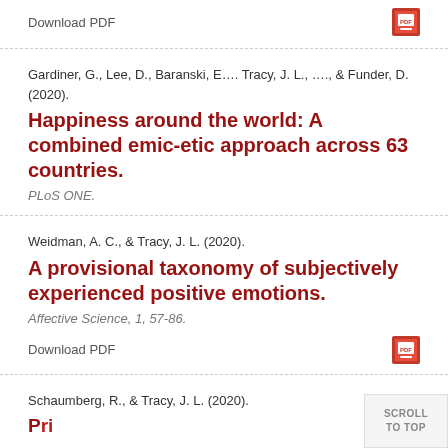Download PDF
Gardiner, G., Lee, D., Baranski, E…. Tracy, J. L., …., & Funder, D. (2020).
Happiness around the world: A combined emic-etic approach across 63 countries.
PLoS ONE.
Weidman, A. C., & Tracy, J. L. (2020).
A provisional taxonomy of subjectively experienced positive emotions.
Affective Science, 1, 57-86.
Download PDF
Schaumberg, R., & Tracy, J. L. (2020).